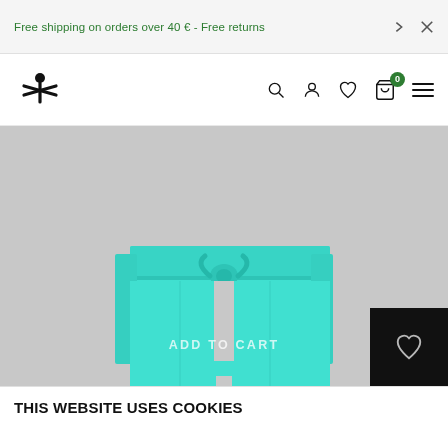Free shipping on orders over 40 € - Free returns
[Figure (screenshot): Benetton website navigation bar with logo and icons (search, account, wishlist, cart with 0 badge, hamburger menu)]
[Figure (photo): Cyan/turquoise shorts or swimwear product image on grey background with ADD TO CART overlay and wishlist heart icon in black box at bottom right]
THIS WEBSITE USES COOKIES